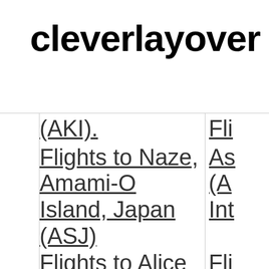cleverlayover
| (AKI). | Fli |
| Flights to Naze, Amami-O Island, Japan (ASJ) | Flights to Asheville (A... Int... |
| Flights to Alice | Fli |